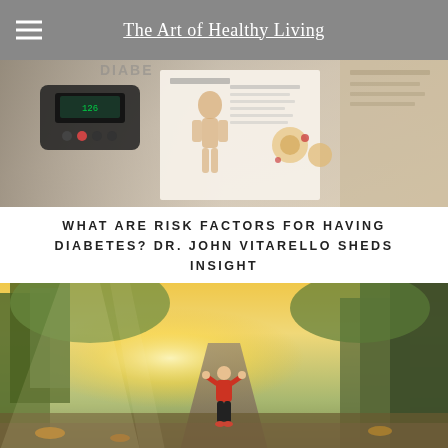The Art of Healthy Living
[Figure (photo): Diabetes medical equipment including a blood glucose monitor, medical charts showing human body diagrams, and informational pamphlets about diabetes spread out on a surface.]
WHAT ARE RISK FACTORS FOR HAVING DIABETES? DR. JOHN VITARELLO SHEDS INSIGHT
[Figure (photo): A person in a red jacket and black pants walking/jogging along a tree-lined path with sunlight streaming through the trees, viewed from behind.]
YOUR HEALTH SHOULD COME FIRST – HERE'S WHAT YOU CAN DO TO IMPROVE